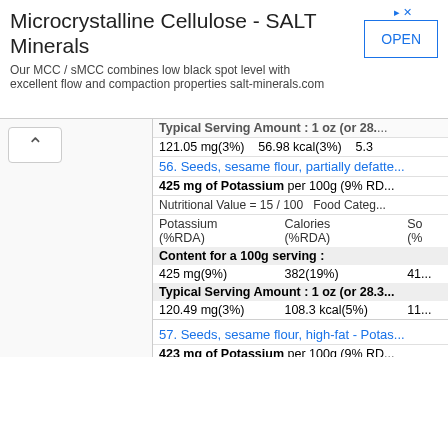[Figure (other): Advertisement banner for Microcrystalline Cellulose - SALT Minerals with OPEN button]
Typical Serving Amount : 1 oz (or 28.3...
121.05 mg(3%)    56.98 kcal(3%)    5.3
56. Seeds, sesame flour, partially defatted - Potass...
425 mg of Potassium per 100g (9% RD...
Nutritional Value = 15 / 100    Food Categ...
| Potassium (%RDA) | Calories (%RDA) | So (%... |
| --- | --- | --- |
| Content for a 100g serving : |
| 425 mg(9%) | 382(19%) | 41... |
| Typical Serving Amount : 1 oz (or 28.3... |
| 120.49 mg(3%) | 108.3 kcal(5%) | 11... |
57. Seeds, sesame flour, high-fat - Potas...
423 mg of Potassium per 100g (9% RD...
Nutritional Value = 15 / 100    Food Categ...
| Potassium (%RDA) | Calories (%RDA) | So (%... |
| --- | --- | --- |
| Content for a 100g serving : |
| 423 mg(9%) | 526(26%) | 41... |
| Typical Serving Amount : 1 oz (or 28.3... |
| 119.92 mg(3%) | 149.12 kcal(7%) | 11... |
119.92 mg(3%)    149.12 kcal(7%)    11...